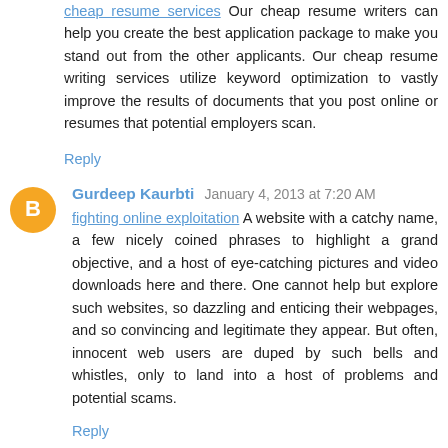cheap resume services Our cheap resume writers can help you create the best application package to make you stand out from the other applicants. Our cheap resume writing services utilize keyword optimization to vastly improve the results of documents that you post online or resumes that potential employers scan.
Reply
Gurdeep Kaurbti  January 4, 2013 at 7:20 AM
fighting online exploitation A website with a catchy name, a few nicely coined phrases to highlight a grand objective, and a host of eye-catching pictures and video downloads here and there. One cannot help but explore such websites, so dazzling and enticing their webpages, and so convincing and legitimate they appear. But often, innocent web users are duped by such bells and whistles, only to land into a host of problems and potential scams.
Reply
Gurdeep Kaurbti  January 7, 2013 at 9:31 AM